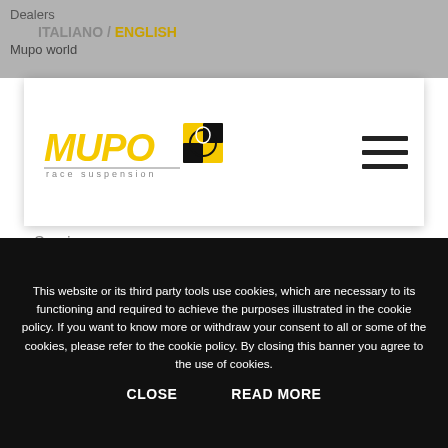Dealers
ITALIANO / ENGLISH
Mupo world
[Figure (logo): MUPO race suspension logo with black and yellow checkered crash test dummy icon, small version in white navigation header]
Services
Get in touch
[Figure (logo): MUPO race suspension large logo with yellow bold text, Italian flag stripe, and black/yellow checkered crash test dummy icon]
This website or its third party tools use cookies, which are necessary to its functioning and required to achieve the purposes illustrated in the cookie policy. If you want to know more or withdraw your consent to all or some of the cookies, please refer to the cookie policy. By closing this banner you agree to the use of cookies.
CLOSE     READ MORE